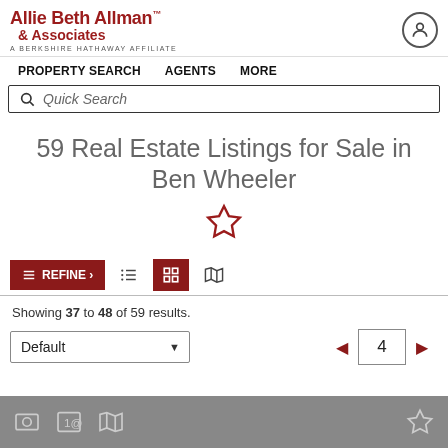[Figure (logo): Allie Beth Allman & Associates logo with 'A Berkshire Hathaway Affiliate' tagline]
PROPERTY SEARCH   AGENTS   MORE
Quick Search
59 Real Estate Listings for Sale in Ben Wheeler
Showing 37 to 48 of 59 results.
Default   4